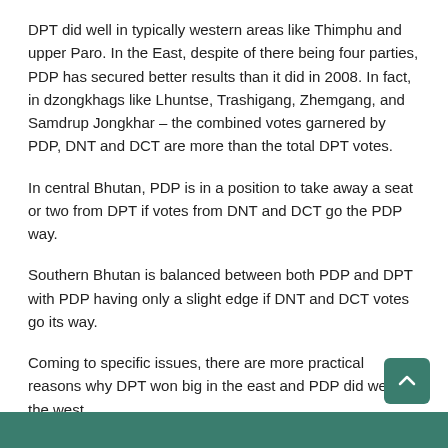DPT did well in typically western areas like Thimphu and upper Paro. In the East, despite of there being four parties, PDP has secured better results than it did in 2008. In fact, in dzongkhags like Lhuntse, Trashigang, Zhemgang, and Samdrup Jongkhar – the combined votes garnered by PDP, DNT and DCT are more than the total DPT votes.
In central Bhutan, PDP is in a position to take away a seat or two from DPT if votes from DNT and DCT go the PDP way.
Southern Bhutan is balanced between both PDP and DPT with PDP having only a slight edge if DNT and DCT votes go its way.
Coming to specific issues, there are more practical reasons why DPT won big in the east and PDP did well in the west.
Even before the 2008 results were declared – a gigantic Nu 147 bn draft 10th Five Year Plan (FYP) had already been drawn up with a lot of focus in backward rural areas.
The main achievement of the incumbent DPT government is